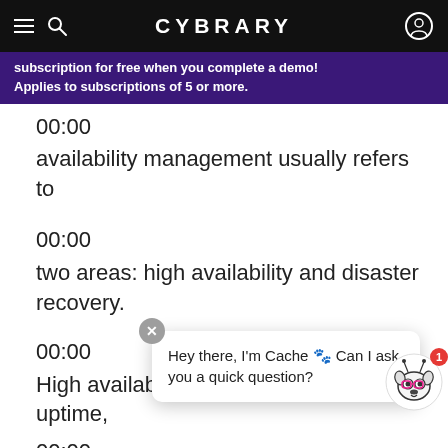CYBRARY
subscription for free when you complete a demo! Applies to subscriptions of 5 or more.
00:00
availability management usually refers to
00:00
two areas: high availability and disaster recovery.
00:00
High availability is concerned with uptime,
00:00
and this is usually managed
Hey there, I'm Cache 🐾 Can I ask you a quick question?